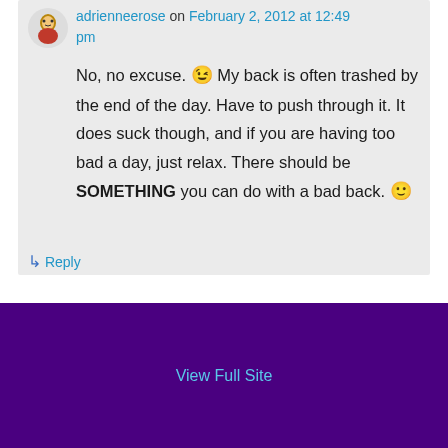adrienneerose on February 2, 2012 at 12:49 pm
No, no excuse. 😉 My back is often trashed by the end of the day. Have to push through it. It does suck though, and if you are having too bad a day, just relax. There should be SOMETHING you can do with a bad back. 🙂
↳ Reply
View Full Site